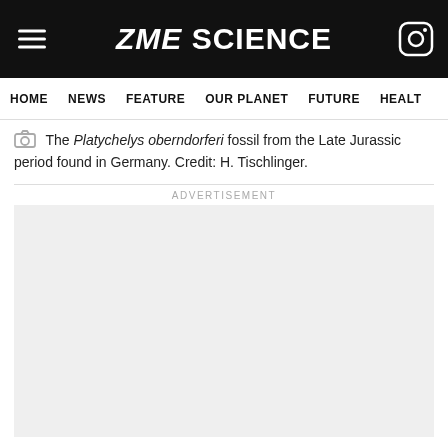ZME SCIENCE
HOME  NEWS  FEATURE  OUR PLANET  FUTURE  HEALT
The Platychelys oberndorferi fossil from the Late Jurassic period found in Germany. Credit: H. Tischlinger.
ADVERTISEMENT
[Figure (other): Advertisement placeholder box (light gray empty rectangle)]